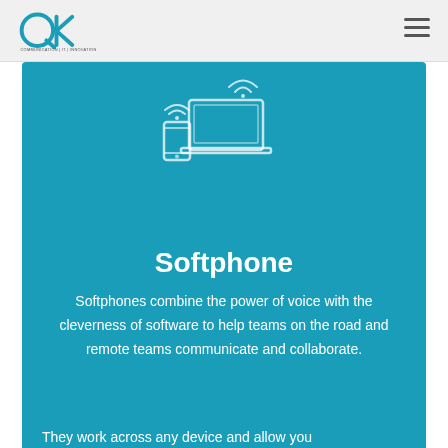[Figure (logo): QK logo — blue circle Q with K letters, text COMMUNICATION | IT | INNOVATION below]
[Figure (illustration): Line icon of a laptop and smartphone with wifi/signal arcs above them, white on teal background]
Softphone
Softphones combine the power of voice with the cleverness of software to help teams on the road and remote teams communicate and collaborate.
They work across any device and allow you